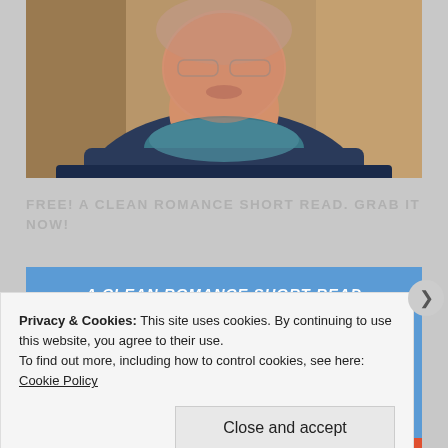[Figure (photo): A person wearing a blue jacket and teal scarf/neckwarmer, shown from shoulders up, looking slightly downward. Webcam or video screenshot style image.]
FREE! A CLEAN ROMANCE SHORT READ. GRAB IT NOW!
[Figure (illustration): Blue banner with white italic text 'A CLEAN ROMANCE SHORT READ' at the top, and below it a pink heart icon next to large white serif text 'AN OLD' (book cover partial).]
Privacy & Cookies: This site uses cookies. By continuing to use this website, you agree to their use.
To find out more, including how to control cookies, see here: Cookie Policy
Close and accept